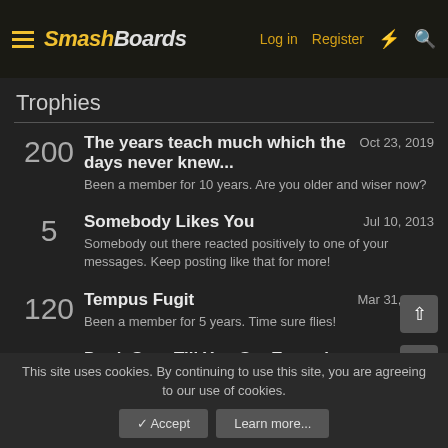SmashBoards — Log in | Register
Trophies
200 — The years teach much which the days never knew... — Oct 23, 2019 — Been a member for 10 years. Are you older and wiser now?
5 — Somebody Likes You — Jul 10, 2013 — Somebody out there reacted positively to one of your messages. Keep posting like that for more!
120 — Tempus Fugit — Mar 31, 2013 — Been a member for 5 years. Time sure flies!
50 — Don't Stop Till You Get Enough — Mar 31, 2013 — You have accumulated 1000 posts, but can you moonwalk?
This site uses cookies. By continuing to use this site, you are agreeing to our use of cookies. [Accept] [Learn more...]